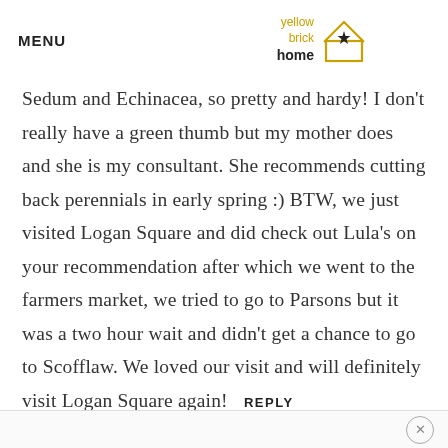MENU | yellow brick home logo
Sedum and Echinacea, so pretty and hardy! I don't really have a green thumb but my mother does and she is my consultant. She recommends cutting back perennials in early spring :) BTW, we just visited Logan Square and did check out Lula's on your recommendation after which we went to the farmers market, we tried to go to Parsons but it was a two hour wait and didn't get a chance to go to Scofflaw. We loved our visit and will definitely visit Logan Square again!  REPLY
×